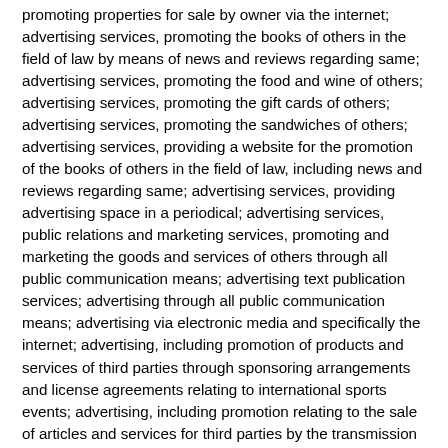promoting properties for sale by owner via the internet; advertising services, promoting the books of others in the field of law by means of news and reviews regarding same; advertising services, promoting the food and wine of others; advertising services, promoting the gift cards of others; advertising services, promoting the sandwiches of others; advertising services, providing a website for the promotion of the books of others in the field of law, including news and reviews regarding same; advertising services, providing advertising space in a periodical; advertising services, public relations and marketing services, promoting and marketing the goods and services of others through all public communication means; advertising text publication services; advertising through all public communication means; advertising via electronic media and specifically the internet; advertising, including promotion of products and services of third parties through sponsoring arrangements and license agreements relating to international sports events; advertising, including promotion relating to the sale of articles and services for third parties by the transmission of advertising material and the dissemination of advertising messages on computer networks; advertising, marketing and promoting the goods and services of others using kiosks; advertising, marketing and promotion